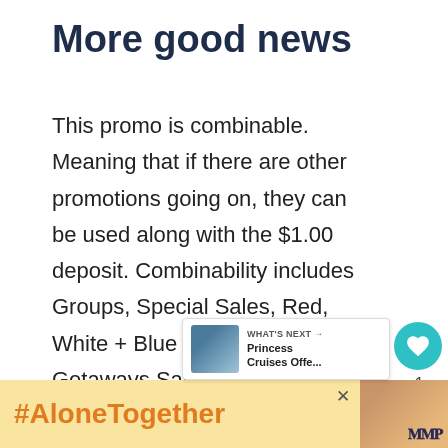More good news
This promo is combinable.  Meaning that if there are other promotions going on, they can be used along with the $1.00 deposit. Combinability includes Groups, Special Sales, Red, White + Blue Sale, Great Getaways Sale offer, Captain Circle Launch Savings and if you're a gambler, know about Princess' drastic Casino Di...
[Figure (other): What's Next callout panel showing a thumbnail of a cruise ship image with text 'Princess Cruises Offe...']
[Figure (other): #AloneTogether advertisement banner with golden/yellow background and a photo of a woman eating]